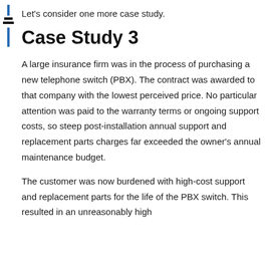Let's consider one more case study.
Case Study 3
A large insurance firm was in the process of purchasing a new telephone switch (PBX). The contract was awarded to that company with the lowest perceived price. No particular attention was paid to the warranty terms or ongoing support costs, so steep post-installation annual support and replacement parts charges far exceeded the owner's annual maintenance budget.
The customer was now burdened with high-cost support and replacement parts for the life of the PBX switch. This resulted in an unreasonably high